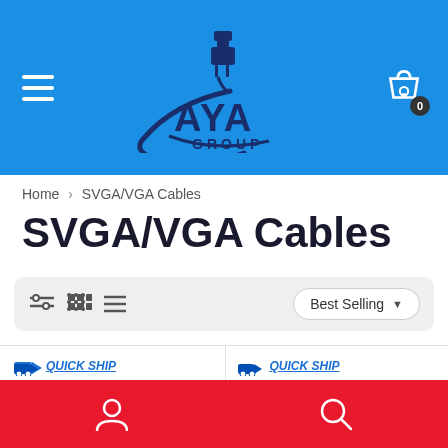[Figure (logo): AYA GROUP logo with USB cable graphic, white text on blue header background, hamburger menu icon on left, shopping cart with badge '0' on right]
Home › SVGA/VGA Cables
SVGA/VGA Cables
[Figure (screenshot): Filter/sort toolbar with filter icon, grid view icon, list view icon, and 'Best Selling' sort dropdown]
QUICK SHIP
Coaxial HD15 VGA to 5 BNC RGBHV Male to Male Cable with Ferrites (6Ft, 10Ft, 15Ft, 25Ft)
QUICK SHIP
8" (8-Inch) VGA HD15 Male to Dual VGA HD15 Female Splitter Cable
[Figure (screenshot): Red footer bar with person/account icon on left and search/magnifier icon on right]